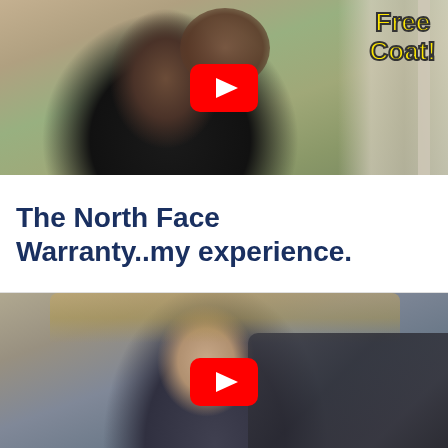[Figure (screenshot): YouTube video thumbnail showing a man in a black t-shirt sitting in a room, with a red YouTube play button overlay and yellow text reading 'Free Coat!' in the top right corner]
The North Face Warranty..my experience.
[Figure (screenshot): YouTube video thumbnail showing a man with a beard holding up a dark jacket/coat, with a red YouTube play button overlay, sitting in a room with a wooden headboard visible]